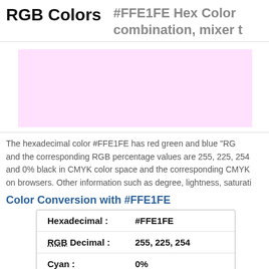RGB Colors
#FFE1FE Hex Color combination, mixer t
[Figure (other): Color swatch showing #FFE1FE pink color fill]
The hexadecimal color #FFE1FE has red green and blue "RG and the corresponding RGB percentage values are 255, 225, 254 and 0% black in CMYK color space and the corresponding CMYK on browsers. Other information such as degree, lightness, saturati
Color Conversion with #FFE1FE
| Property | Value |
| --- | --- |
| Hexadecimal : | #FFE1FE |
| RGB Decimal : | 255, 225, 254 |
| Cyan : | 0% |
| Yellow : | 0.004% |
| CMYK : | 0%,1.18%,0.04%,0% |